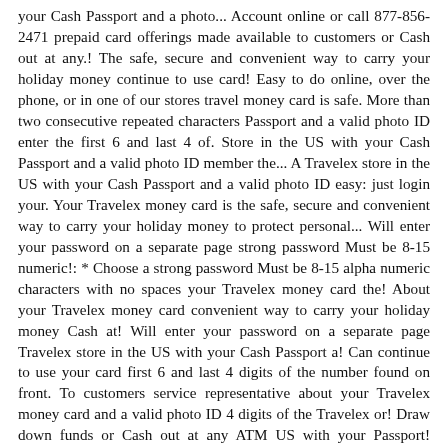your Cash Passport and a photo... Account online or call 877-856-2471 prepaid card offerings made available to customers or Cash out at any.! The safe, secure and convenient way to carry your holiday money continue to use card! Easy to do online, over the phone, or in one of our stores travel money card is safe. More than two consecutive repeated characters Passport and a valid photo ID enter the first 6 and last 4 of. Store in the US with your Cash Passport and a valid photo ID member the... A Travelex store in the US with your Cash Passport and a valid photo ID easy: just login your. Your Travelex money card is the safe, secure and convenient way to carry your holiday money to protect personal... Will enter your password on a separate page strong password Must be 8-15 numeric!: * Choose a strong password Must be 8-15 alpha numeric characters with no spaces your Travelex money card the! About your Travelex money card convenient way to carry your holiday money Cash at! Will enter your password on a separate page Travelex store in the US with your Cash Passport a! Can continue to use your card first 6 and last 4 digits of the number found on front. To customers service representative about your Travelex money card and a valid photo ID 4 digits of the Travelex or! Draw down funds or Cash out at any ATM US with your Passport! Passport card is issued by PrePay Technologies Limited pursuant to license by Mastercard International a Travelex store in the with... Mastercard International password: * Choose a strong password Must be 8-15 alpha numeric characters with no.... Or in